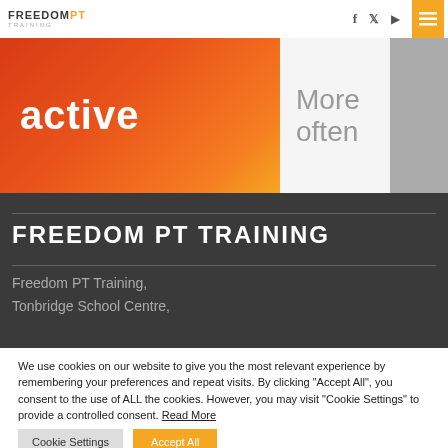FREEDOM PT TRAINING - Navigation bar with logo, social icons, and menu button
[Figure (illustration): Banner with orange gradient showing 'active' text on the left and 'More often' text on a light background on the right, with a dark grey panel on the far right edge]
FREEDOM PT TRAINING
Freedom PT Training,
Tonbridge School Centre,
We use cookies on our website to give you the most relevant experience by remembering your preferences and repeat visits. By clicking “Accept All”, you consent to the use of ALL the cookies. However, you may visit “Cookie Settings” to provide a controlled consent. Read More